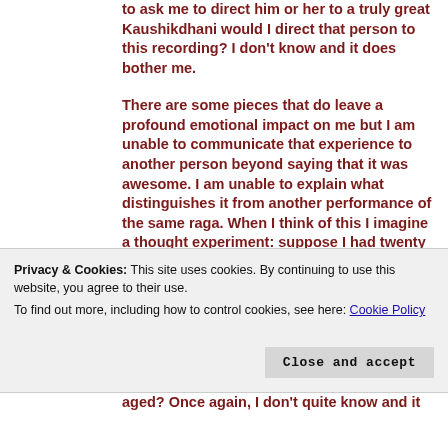to ask me to direct him or her to a truly great Kaushikdhani would I direct that person to this recording? I don't know and it does bother me.
There are some pieces that do leave a profound emotional impact on me but I am unable to communicate that experience to another person beyond saying that it was awesome. I am unable to explain what distinguishes it from another performance of the same raga. When I think of this I imagine a thought experiment: suppose I had twenty recordings of Kaushikdhani by listed...
Privacy & Cookies: This site uses cookies. By continuing to use this website, you agree to their use.
To find out more, including how to control cookies, see here: Cookie Policy
aged? Once again, I don't quite know and it